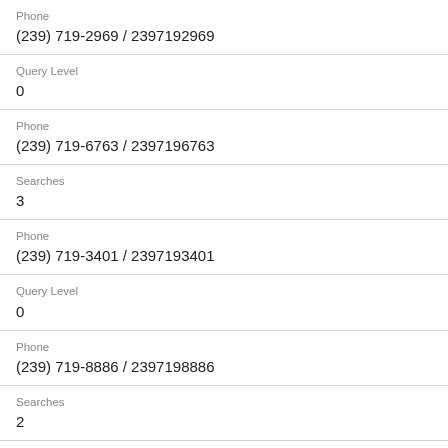Phone
(239) 719-2969 / 2397192969
Query Level
0
Phone
(239) 719-6763 / 2397196763
Searches
3
Phone
(239) 719-3401 / 2397193401
Query Level
0
Phone
(239) 719-8886 / 2397198886
Searches
2
Phone
(239) 719-7372 / 2397197372